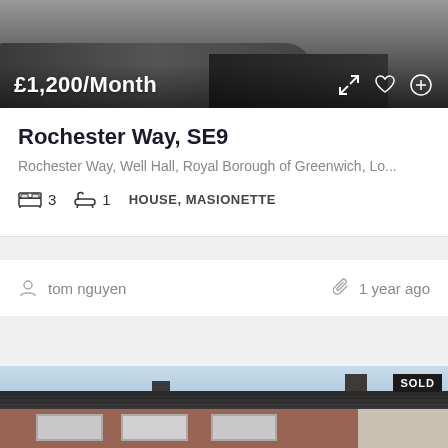[Figure (photo): Property listing photo showing a vehicle, partially visible, dark overlay]
£1,200/Month
Rochester Way, SE9
Rochester Way, Well Hall, Royal Borough of Greenwich, Lo...
3   1   HOUSE, MASIONETTE
tom nguyen
1 year ago
[Figure (photo): Exterior photo of a terraced brick house with dark roof tiles, white windows, and a SOLD badge in the top right corner]